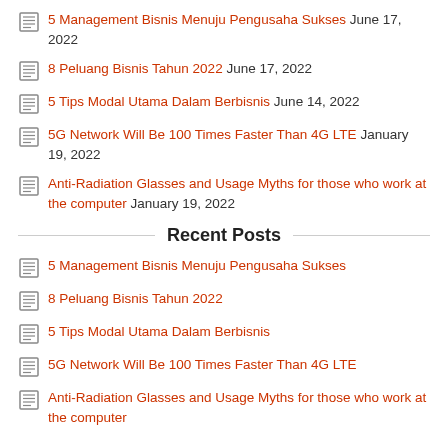5 Management Bisnis Menuju Pengusaha Sukses June 17, 2022
8 Peluang Bisnis Tahun 2022 June 17, 2022
5 Tips Modal Utama Dalam Berbisnis June 14, 2022
5G Network Will Be 100 Times Faster Than 4G LTE January 19, 2022
Anti-Radiation Glasses and Usage Myths for those who work at the computer January 19, 2022
Recent Posts
5 Management Bisnis Menuju Pengusaha Sukses
8 Peluang Bisnis Tahun 2022
5 Tips Modal Utama Dalam Berbisnis
5G Network Will Be 100 Times Faster Than 4G LTE
Anti-Radiation Glasses and Usage Myths for those who work at the computer